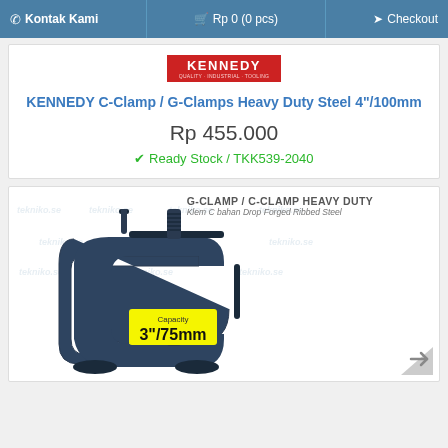Kontak Kami  |  Rp 0 (0 pcs)  |  Checkout
[Figure (photo): Kennedy brand logo (red rectangle with white text 'KENNEDY' and small tagline)]
KENNEDY C-Clamp / G-Clamps Heavy Duty Steel 4"/100mm
Rp 455.000
Ready Stock / TKK539-2040
[Figure (photo): G-Clamp / C-Clamp Heavy Duty product photo. Dark blue/navy heavy duty C-clamp with threaded screw, T-bar handle. Yellow badge showing Capacity 3"/75mm. Text above: G-CLAMP / C-CLAMP HEAVY DUTY, Klem C bahan Drop Forged Ribbed Steel.]